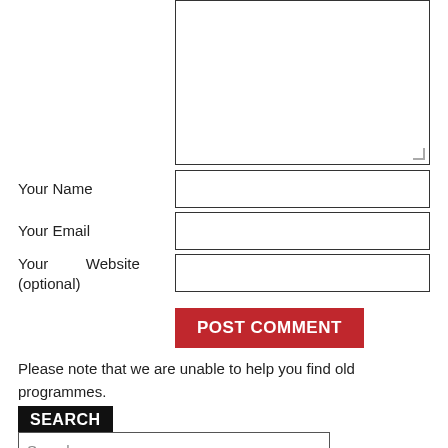[Figure (other): Textarea input box (comment field), partially shown at top]
Your Name
[Figure (other): Text input field for Your Name]
Your Email
[Figure (other): Text input field for Your Email]
Your Website (optional)
[Figure (other): Text input field for Your Website (optional)]
[Figure (other): POST COMMENT button (red background, white bold text)]
Please note that we are unable to help you find old programmes.
SEARCH
[Figure (other): Search text input field with placeholder 'Search']
[Figure (other): Search submit button (black bar), partially shown]